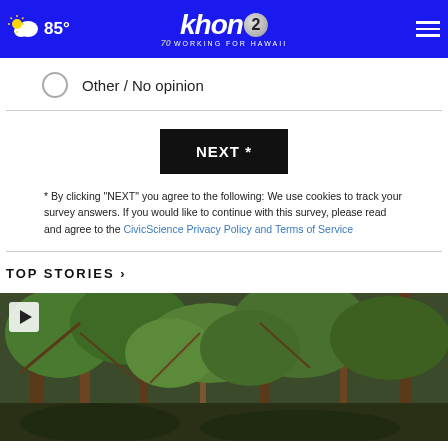khon2 WORKING FOR HAWAII | 85° | weather icon | menu
Other / No opinion
NEXT *
* By clicking "NEXT" you agree to the following: We use cookies to track your survey answers. If you would like to continue with this survey, please read and agree to the CivicScience Privacy Policy and Terms of Service
TOP STORIES ›
[Figure (photo): Outdoor forest/jungle scene with trees and dense foliage, includes video play button overlay in top-left corner]